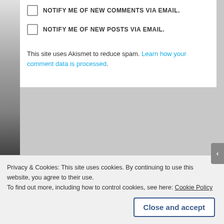NOTIFY ME OF NEW COMMENTS VIA EMAIL.
NOTIFY ME OF NEW POSTS VIA EMAIL.
This site uses Akismet to reduce spam. Learn how your comment data is processed.
CONNECT
[Figure (logo): Facebook and Twitter social media icons]
Privacy & Cookies: This site uses cookies. By continuing to use this website, you agree to their use. To find out more, including how to control cookies, see here: Cookie Policy
Close and accept